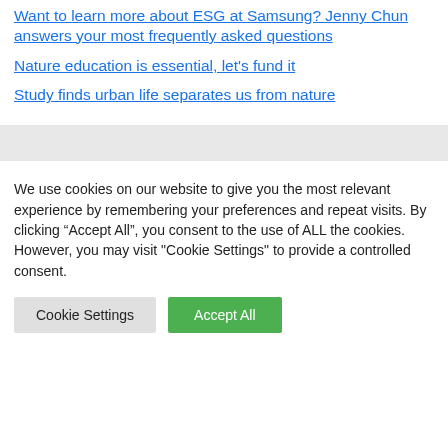Want to learn more about ESG at Samsung? Jenny Chun answers your most frequently asked questions
Nature education is essential, let's fund it
Study finds urban life separates us from nature
We use cookies on our website to give you the most relevant experience by remembering your preferences and repeat visits. By clicking “Accept All”, you consent to the use of ALL the cookies. However, you may visit "Cookie Settings" to provide a controlled consent.